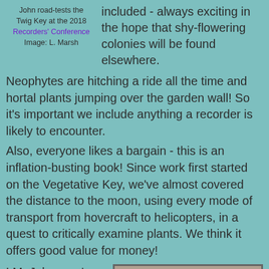John road-tests the Twig Key at the 2018 Recorders' Conference Image: L. Marsh
included - always exciting in the hope that shy-flowering colonies will be found elsewhere.
Neophytes are hitching a ride all the time and hortal plants jumping over the garden wall! So it’s important we include anything a recorder is likely to encounter.
Also, everyone likes a bargain - this is an inflation-busting book! Since work first started on the Vegetative Key, we’ve almost covered the distance to the moon, using every mode of transport from hovercraft to helicopters, in a quest to critically examine plants. We think it offers good value for money!
LM: John, you’re known for asking botanists visiting the far corners of Britain & Ireland to collect specimens for
[Figure (photo): Photo of a man smiling in a striped shirt, seated at a table in what appears to be a restaurant or indoor setting. Background shows framed pictures on the wall.]